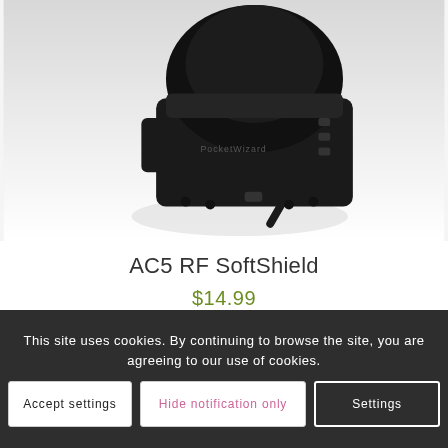[Figure (photo): Product photo of AC5 RF SoftShield device — a black electronic unit with a flexible antenna, photographed on a white background from a low angle showing the base and side.]
AC5 RF SoftShield
$14.99
This site uses cookies. By continuing to browse the site, you are agreeing to our use of cookies.
Accept settings
Hide notification only
Settings